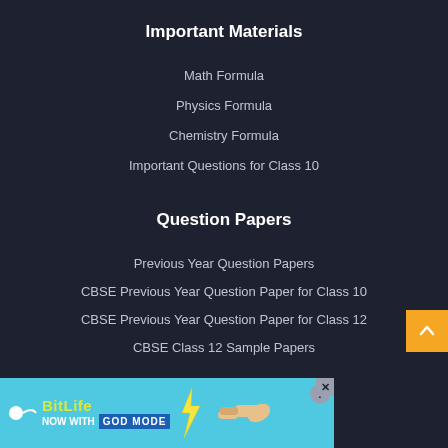Important Materials
Math Formula
Physics Formula
Chemistry Formula
Important Questions for Class 10
Question Papers
Previous Year Question Papers
CBSE Previous Year Question Paper for Class 10
CBSE Previous Year Question Paper for Class 12
CBSE Class 12 Sample Papers
Quick Links
NCERT Books
[Figure (infographic): BitLife advertisement banner with 'NOW WITH GOD MODE' text, pointing hand graphic, and question mark icon with close button]